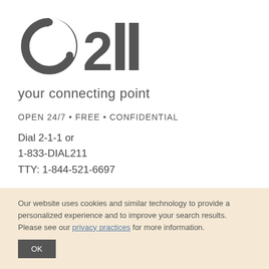[Figure (logo): O211 logo — circular arrow/orbit icon with dots followed by bold '211' text, in dark gray]
your connecting point
OPEN 24/7 • FREE • CONFIDENTIAL
Dial 2-1-1 or
1-833-DIAL211
TTY: 1-844-521-6697
Our website uses cookies and similar technology to provide a personalized experience and to improve your search results. Please see our privacy practices for more information.
OK